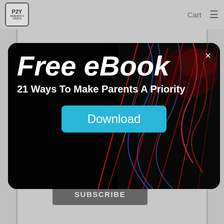P2Y | Cart | Menu
Sign Up For Free Stuff
[Figure (screenshot): Modal popup with abstract red and blue light streaks/neural network background image]
Free eBook
21 Ways To Make Parents A Priority
Download
EMAIL
SUBSCRIBE